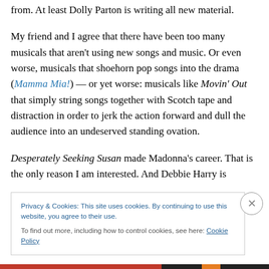from. At least Dolly Parton is writing all new material.
My friend and I agree that there have been too many musicals that aren't using new songs and music. Or even worse, musicals that shoehorn pop songs into the drama (Mamma Mia!) — or yet worse: musicals like Movin' Out that simply string songs together with Scotch tape and distraction in order to jerk the action forward and dull the audience into an undeserved standing ovation.
Desperately Seeking Susan made Madonna's career. That is the only reason I am interested. And Debbie Harry is
Privacy & Cookies: This site uses cookies. By continuing to use this website, you agree to their use.
To find out more, including how to control cookies, see here: Cookie Policy
Close and accept